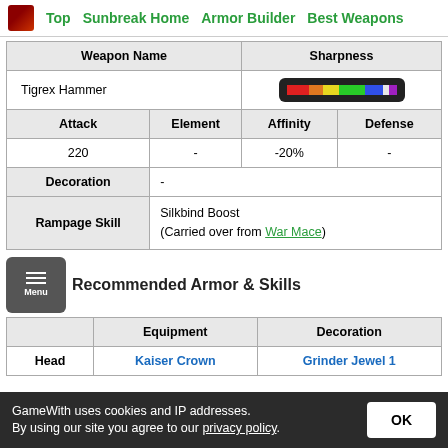Top | Sunbreak Home | Armor Builder | Best Weapons
| Weapon Name | Sharpness |
| --- | --- |
| Tigrex Hammer | [sharpness bar] |
| Attack | Element | Affinity | Defense |
| 220 | - | -20% | - |
| Decoration | - |
| Rampage Skill | Silkbind Boost (Carried over from War Mace) |
Recommended Armor & Skills
|  | Equipment | Decoration |
| --- | --- | --- |
| Head | Kaiser Crown | Grinder Jewel 1 |
GameWith uses cookies and IP addresses. By using our site you agree to our privacy policy.